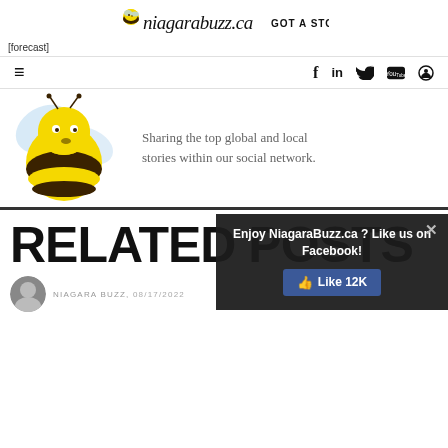niagarabuzz.ca GOT A STORY?
[forecast]
[Figure (screenshot): Navigation bar with hamburger menu and social media icons: facebook, linkedin, twitter, youtube, search]
[Figure (illustration): NiagaraBuzz.ca bee mascot logo with text: Sharing the top global and local stories within our social network.]
RELATED POSTS
[Figure (screenshot): Dark popup overlay: Enjoy NiagaraBuzz.ca ? Like us on Facebook! with Like 12K button and X close button]
NIAGARA BUZZ, 08/17/2022